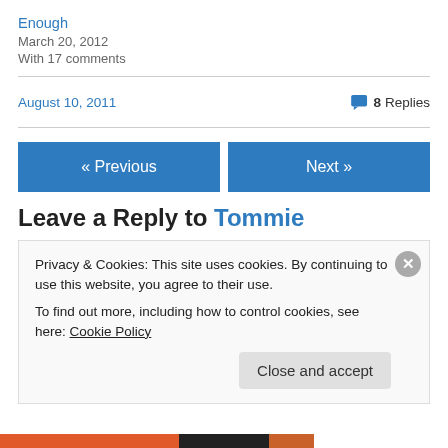Enough
March 20, 2012
With 17 comments
August 10, 2011
8 Replies
« Previous
Next »
Leave a Reply to Tommie
Privacy & Cookies: This site uses cookies. By continuing to use this website, you agree to their use.
To find out more, including how to control cookies, see here: Cookie Policy
Close and accept